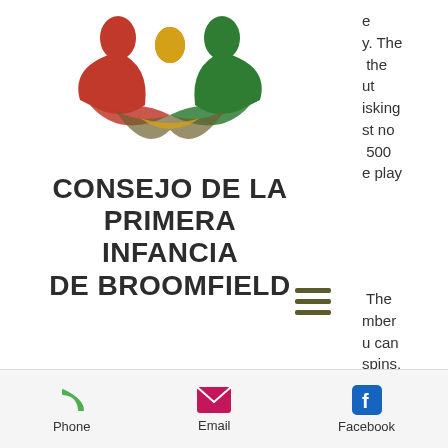[Figure (logo): Consejo de la Primera Infancia de Broomfield logo — three abstract human figures in red, gold/orange, and green with intertwining ribbon shapes]
CONSEJO DE LA PRIMERA INFANCIA DE BROOMFIELD
e
y. The
 the
ut
isking
st no
500
e play
The
mber
u can
spins,
bling products that offer. Now, this has been made possible with the advent of live casino games, which allow you to play poker,
Phone  Email  Facebook